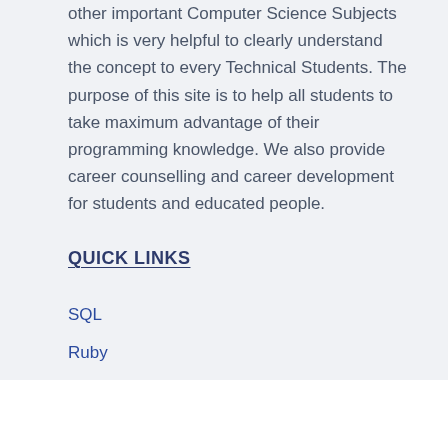other important Computer Science Subjects which is very helpful to clearly understand the concept to every Technical Students. The purpose of this site is to help all students to take maximum advantage of their programming knowledge. We also provide career counselling and career development for students and educated people.
QUICK LINKS
SQL
Ruby
Swift